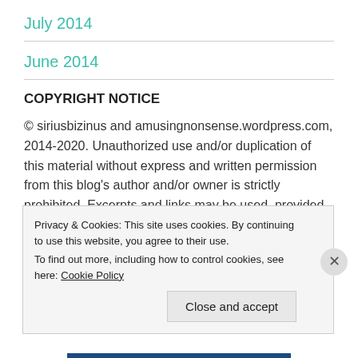July 2014
June 2014
COPYRIGHT NOTICE
© siriusbizinus and amusingnonsense.wordpress.com, 2014-2020. Unauthorized use and/or duplication of this material without express and written permission from this blog's author and/or owner is strictly prohibited. Excerpts and links may be used, provided that full and
Privacy & Cookies: This site uses cookies. By continuing to use this website, you agree to their use.
To find out more, including how to control cookies, see here: Cookie Policy
Close and accept